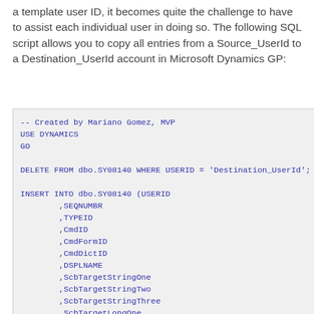a template user ID, it becomes quite the challenge to have to assist each individual user in doing so. The following SQL script allows you to copy all entries from a Source_UserId to a Destination_UserId account in Microsoft Dynamics GP: